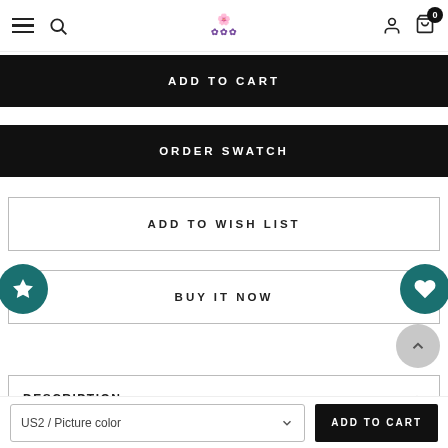Menu | Search | Logo | User | Cart (0)
ADD TO CART
ORDER SWATCH
ADD TO WISH LIST
BUY IT NOW
DESCRIPTION
CUSTOMER REVIEWS
US2 / Picture color
ADD TO CART